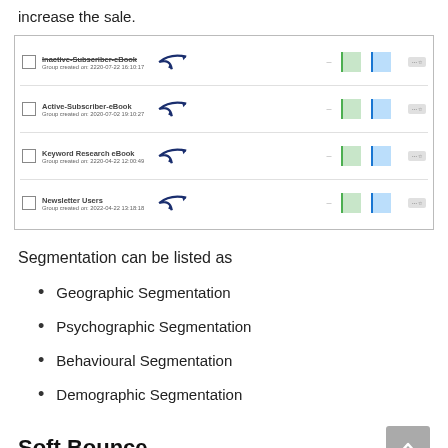increase the sale.
[Figure (screenshot): Email marketing platform screenshot showing a list of subscriber groups: Inactive-Subscriber-eBook, Active-Subscriber-eBook, Keyword Research eBook, Newsletter Users, each with creation dates, arrows, and blurred statistics columns.]
Segmentation can be listed as
Geographic Segmentation
Psychographic Segmentation
Behavioural Segmentation
Demographic Segmentation
Soft Bounce
In the soft bounce, your email is reached to the